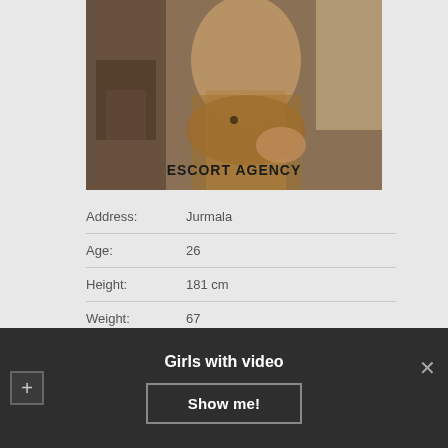[Figure (photo): Photo of a person with escort agency watermark text overlay reading ESCORT AGENCY]
| Field | Value |
| --- | --- |
| Address: | Jurmala |
| Age: | 26 |
| Height: | 181 cm |
| Weight: | 67 |
| Availability: | 10:00 – 23:00 |
Girls with video
Show me!